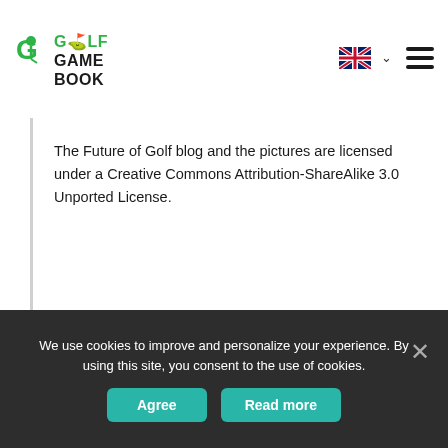GOLF GAME BOOK
The Future of Golf blog and the pictures are licensed under a Creative Commons Attribution-ShareAlike 3.0 Unported License.
Tee off with Golf GameBook now!
[Figure (logo): Download on the App Store button with Apple logo on dark background]
We use cookies to improve and personalize your experience. By using this site, you consent to the use of cookies.